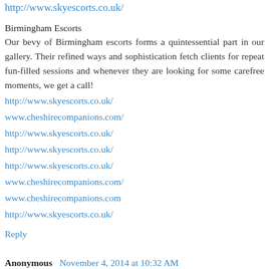http://www.skyescorts.co.uk/
Birmingham Escorts
Our bevy of Birmingham escorts forms a quintessential part in our gallery. Their refined ways and sophistication fetch clients for repeat fun-filled sessions and whenever they are looking for some carefree moments, we get a call!
http://www.skyescorts.co.uk/
www.cheshirecompanions.com/
http://www.skyescorts.co.uk/
http://www.skyescorts.co.uk/
http://www.skyescorts.co.uk/
www.cheshirecompanions.com/
www.cheshirecompanions.com
http://www.skyescorts.co.uk/
Reply
Anonymous  November 4, 2014 at 10:32 AM
Whether it is busty Brazilian babe, a petite and pleasurable blonde or a curvy girl catches your fancy after taking a look at our gallery- a hurried booking process can fetch you the